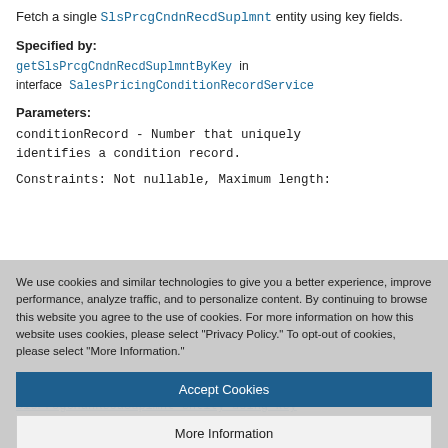Fetch a single SlsPrcgCndnRecdSuplmnt entity using key fields.
Specified by:
getSlsPrcgCndnRecdSuplmntByKey in interface SalesPricingConditionRecordService
Parameters:
conditionRecord - Number that uniquely identifies a condition record.
Constraints: Not nullable, Maximum length:
We use cookies and similar technologies to give you a better experience, improve performance, analyze traffic, and to personalize content. By continuing to browse this website you agree to the use of cookies. For more information on how this website uses cookies, please select “Privacy Policy.” To opt-out of cookies, please select “More Information.”
Accept Cookies
More Information
Privacy Policy | Powered by: TrustArc
SlsPrcgCndnRecdSuplmnt entity using key fields. This fluent helper allows methods